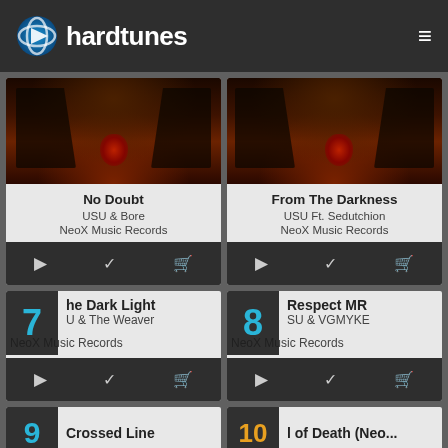hardtunes
[Figure (screenshot): Hardtunes music website screenshot showing a list of tracks with album art, titles, artists, and record labels]
No Doubt
USU & Bore
NeoX Music Records
From The Darkness
USU Ft. Sedutchion
NeoX Music Records
7 The Dark Light
U & The Weaver
NeoX Music Records
8 Respect MR
SU & VGMYKE
NeoX Music Records
9 Crossed Line
10 l of Death (Neo...